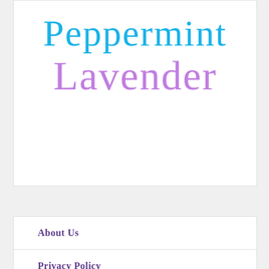[Figure (logo): Handwritten-style logo with 'Peppermint' in cyan/blue script and 'Lavender' in violet/purple script below]
About Us
Privacy Policy
Advertise
Terms of Service